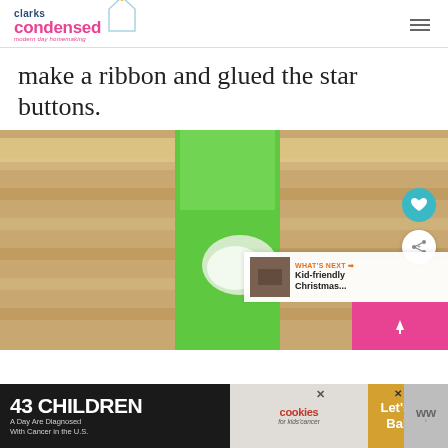clarks condensed — modern day homemaking
make a ribbon and glued the star buttons.
[Figure (photo): A green ribbon or strip of green slime/glue on a cardboard background, with social sharing buttons (heart and share) overlaid, and a 'What's Next: Kid-friendly Christmas...' banner in the bottom right corner]
[Figure (infographic): Advertisement banner: '43 CHILDREN A Day Are Diagnosed With Cancer in the U.S.' with cookies for kids cancer logo and 'Let's Get Baking' section]